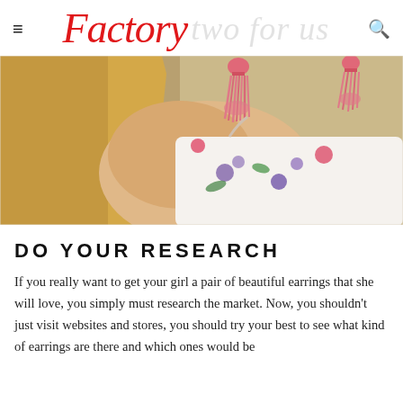Factory two for us
[Figure (photo): Close-up photo of a woman with blonde hair wearing pink tassel earrings and a floral dress, photographed from behind/side showing her shoulder and earrings against a beige background.]
DO YOUR RESEARCH
If you really want to get your girl a pair of beautiful earrings that she will love, you simply must research the market. Now, you shouldn't just visit websites and stores, you should try your best to see what kind of earrings are there and which ones would be good for your girl. We know this may be a lot to coordinated